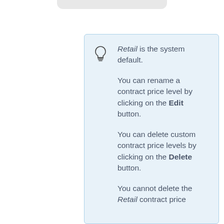Retail is the system default.

You can rename a contract price level by clicking on the Edit button.

You can delete custom contract price levels by clicking on the Delete button.

You cannot delete the Retail contract price level.